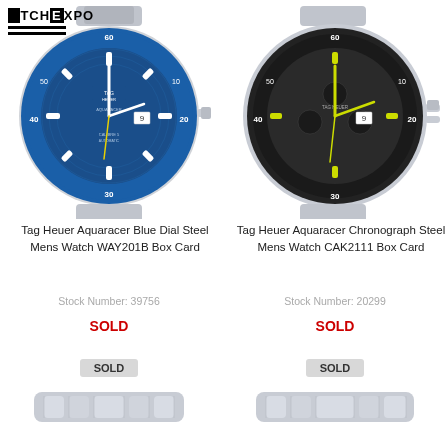WATCHEXPO
[Figure (photo): Tag Heuer Aquaracer Blue Dial Steel Mens Watch WAY201B with blue dial and steel bracelet]
[Figure (photo): Tag Heuer Aquaracer Chronograph Steel Mens Watch CAK2111 with dark dial and yellow accent hands]
Tag Heuer Aquaracer Blue Dial Steel Mens Watch WAY201B Box Card
Tag Heuer Aquaracer Chronograph Steel Mens Watch CAK2111 Box Card
Stock Number: 39756
Stock Number: 20299
SOLD
SOLD
SOLD
SOLD
[Figure (photo): Partial view of a watch bracelet/clasp at bottom left]
[Figure (photo): Partial view of a watch bracelet/clasp at bottom right]